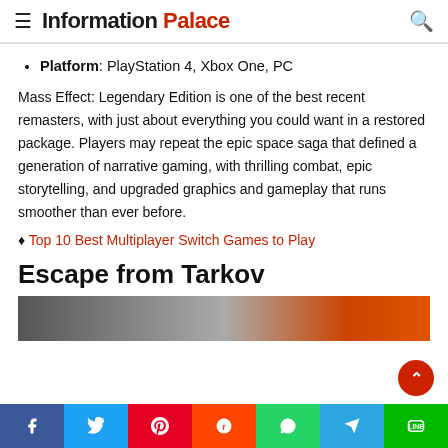Information Palace
Platform: PlayStation 4, Xbox One, PC
Mass Effect: Legendary Edition is one of the best recent remasters, with just about everything you could want in a restored package. Players may repeat the epic space saga that defined a generation of narrative gaming, with thrilling combat, epic storytelling, and upgraded graphics and gameplay that runs smoother than ever before.
♦ Top 10 Best Multiplayer Switch Games to Play
Escape from Tarkov
[Figure (photo): Partial screenshot/image related to Escape from Tarkov game, showing urban building exterior]
Social share bar: Facebook, Twitter, Pinterest, Reddit, WhatsApp, Telegram, LINE